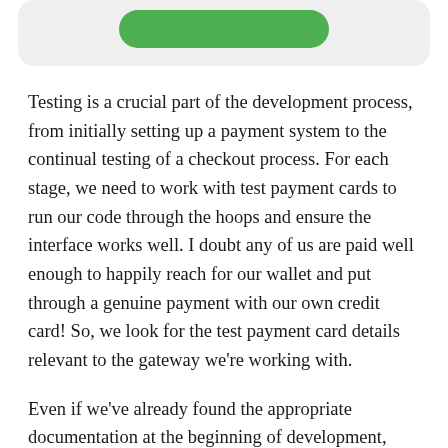[Figure (other): Green rounded button inside a light gray rounded card at the top of the page]
Testing is a crucial part of the development process, from initially setting up a payment system to the continual testing of a checkout process. For each stage, we need to work with test payment cards to run our code through the hoops and ensure the interface works well. I doubt any of us are paid well enough to happily reach for our wallet and put through a genuine payment with our own credit card! So, we look for the test payment card details relevant to the gateway we're working with.
Even if we've already found the appropriate documentation at the beginning of development, what about a month or two later when we need to retest